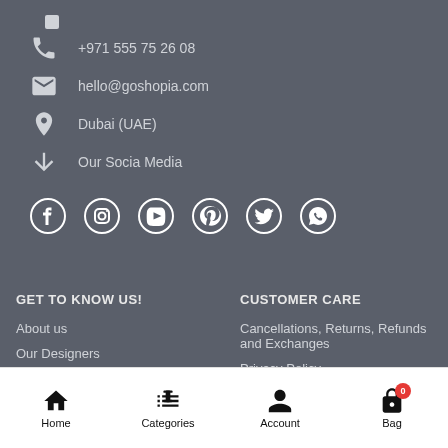+971 555 75 26 08
hello@goshopia.com
Dubai (UAE)
Our Socia Media
[Figure (logo): Social media icons: Facebook, Instagram, YouTube, Pinterest, Twitter, WhatsApp]
GET TO KNOW US!
About us
Our Designers
Press & Media Hub
CUSTOMER CARE
Cancellations, Returns, Refunds and Exchanges
Privacy Policy
Terms & Conditions
Home | Categories | Account | Bag (0)